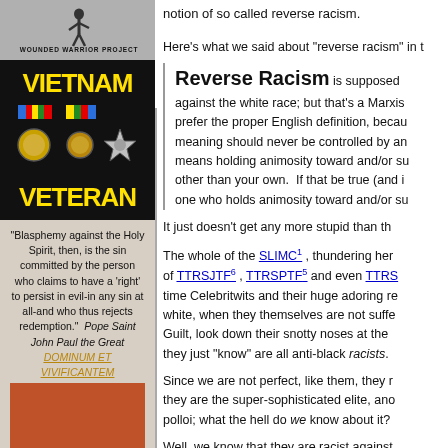[Figure (logo): Wounded Warrior Project logo with silhouette and text]
[Figure (illustration): Vietnam Veteran banner with medals on black background]
"Blasphemy against the Holy Spirit, then, is the sin committed by the person who claims to have a 'right' to persist in evil-in any sin at all-and who thus rejects redemption."  Pope Saint John Paul the Great DOMINUM ET VIVIFICANTEM
[Figure (illustration): Orange/brown box at bottom left]
notion of so called reverse racism.
Here's what we said about "reverse racism" in t
Reverse Racism is supposed against the white race; but that's a Marxis prefer the proper English definition, becau meaning should never be controlled by an means holding animosity toward and/or su other than your own.  If that be true (and i one who holds animosity toward and/or su
It just doesn't get any more stupid than th
The whole of the SLIMC1 , thundering her of TTRSJTF6 , TTRSPTF5 and even TTRS time Celebritwits and their huge adoring re white, when they themselves are not suffe Guilt, look down their snotty noses at the they just "know" are all anti-black racists.
Since we are not perfect, like them, they r they are the super-sophisticated elite, ano polloi; what the hell do we know about it?
Well, we know that they are racist against
And they don't even know that.